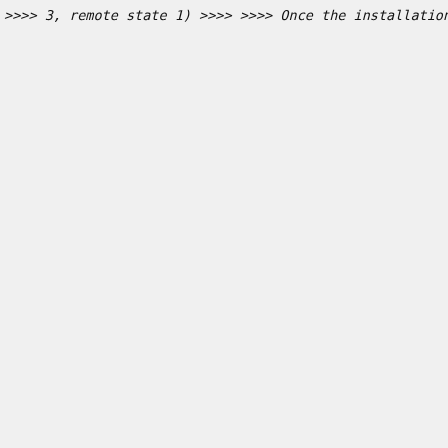>>>> 3, remote state 1)
>>>>
>>>> Once the installation fails, If I connect with Virt-Manag
>>>> that my machines has 5 disks attached. I do not understan
>>>> timing out like that.
>>>>
>>>> I'm looking for any debugging tips or pointers on helping
>>>> this rather strange issue.
>>>
>>> Wild stab in the dark: Is the backend driver present in do
>>> kernel module loaded or the appropriate backend provider (
>>> installed and getting launched?
>>>
>>> The output of "xenstore-ls -fp" while the guest is running
>>> some clues as to which backend is expected, which might su
>>> step.
>>
>> I've run this command on my working installation and I can
>> using tap2 :
>>
>> /vm/6acf630f-912b-7159-8188-b7a7afd4d3f2/device/tap2 = ""
>> /vm/6acf630f-912b-7159-8188-b7a7afd4d3f2/device/tap2/51712
>> /vm/6acf630f-912b-7159-8188-b7a7afd4d3f2/device/tap2/51712
>> "/local/domain/12/device/vbd/51712"  (n0)
>> /vm/6acf630f-912b-7159-8188-b7a7afd4d3f2/device/tap2/51712